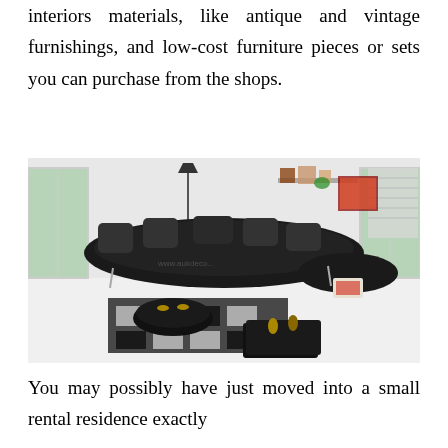interiors materials, like antique and vintage furnishings, and low-cost furniture pieces or sets you can purchase from the shops.
[Figure (photo): A modern living room with a curved black leather sectional sofa, two round black ottomans on a geometric patterned rug, a square black coffee table, and a curved chaise lounge. The room has white walls, large windows, wall shelves with decorative items, and a lamp.]
You may possibly have just moved into a small rental residence exactly